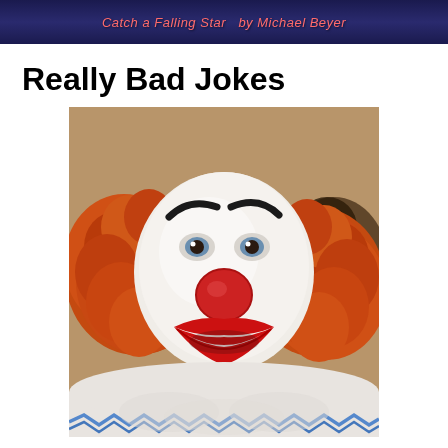Catch a Falling Star  by Michael Beyer
Really Bad Jokes
[Figure (photo): A clown with white face paint, red nose, red lips, orange/red fluffy hair on the sides, wearing a white ruffled costume with blue trim. The clown is smiling and appears to be Bozo the Clown or similar classic clown character.]